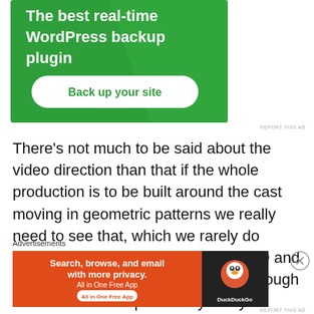[Figure (screenshot): Green advertisement banner for WordPress backup plugin with 'The best real-time WordPress backup plugin' heading and 'Back up your site' button]
REPORT THIS AD
There's not much to be said about the video direction than that if the whole production is to be built around the cast moving in geometric patterns we really need to see that, which we rarely do here.  On Blu-ray the sound (DTS-HD and stereo) is fine and so is the picture though with all the closeups it rarely really matters.  There are no extras on the disk but the essay material in the booklet is worth
Advertisements
[Figure (screenshot): Orange DuckDuckGo advertisement: 'Search, browse, and email with more privacy. All in One Free App' with DuckDuckGo logo on dark right panel]
REPORT THIS AD